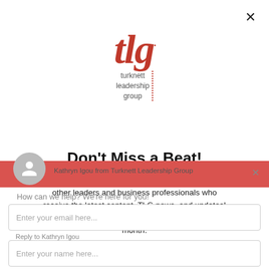[Figure (logo): TLG (Turknett Leadership Group) logo in red/dark red with serif italic letters 'tlg' and dotted border, text below reads 'turknett leadership group']
Don't Miss a Beat!
Sign up for our newsletter and join thousands of other leaders and business professionals who receive the latest content, TLG news, and updates! Published on the second Wednesday of every month.
[Figure (screenshot): Chat widget overlay showing avatar, 'Kathryn Igou from Turknett Leadership Group' header with close X, message 'How can we help? We're here for you!', email input field 'Enter your email here...', and name input field 'Reply to Kathryn Igou / Enter your name here...']